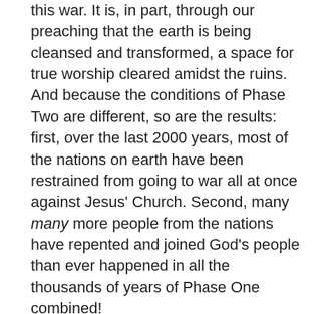this war. It is, in part, through our preaching that the earth is being cleansed and transformed, a space for true worship cleared amidst the ruins. And because the conditions of Phase Two are different, so are the results: first, over the last 2000 years, most of the nations on earth have been restrained from going to war all at once against Jesus' Church. Second, many many more people from the nations have repented and joined God's people than ever happened in all the thousands of years of Phase One combined!
But still, in every generation of Jesus' Church there have been a percentage of nations who have attacked God's people. Why are we not allowed to completely destroy them like God's people did during Esther's time? Why are we not allowed to use political power to scare or